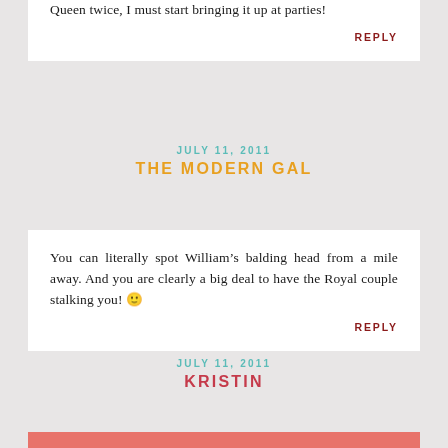Queen twice, I must start bringing it up at parties!
REPLY
JULY 11, 2011
THE MODERN GAL
You can literally spot William’s balding head from a mile away. And you are clearly a big deal to have the Royal couple stalking you! 🙂
REPLY
JULY 11, 2011
KRISTIN